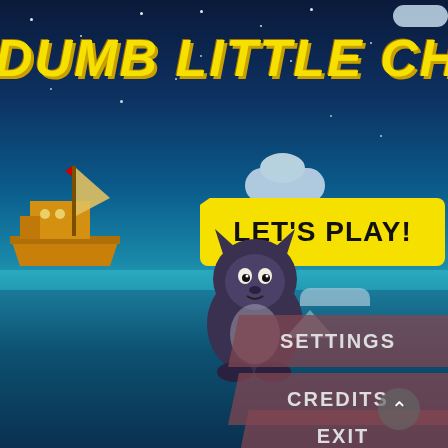[Figure (screenshot): Game main menu screen for 'Dumb Little Ch...' (title partially cut off). Dark blue night ocean scene with stars. Large yellow italic bold title 'DUMB LITTLE CH...' at top left. Yellow 'LET'S PLAY!' button in center-right. Menu buttons: SETTINGS, CREDITS, EXIT on right side. A cartoon dark creature/cat character in center-bottom, a yellow pirate ship on the left, clouds, and an iceberg in the scene. Scroll-up arrow button at bottom-right.]